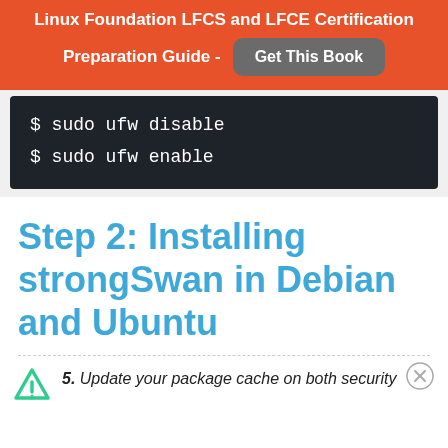Linux Foundation LFCS and LFCE Certification Preparation Guide - Get This Book
[Figure (screenshot): Dark terminal code block showing two commands: $ sudo ufw disable and $ sudo ufw enable]
Step 2: Installing strongSwan in Debian and Ubuntu
5. Update your package cache on both security